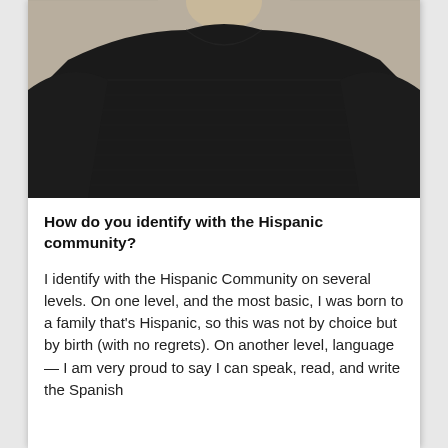[Figure (photo): Photo of a person wearing a dark navy/black v-neck striped t-shirt, cropped to show torso and partial shoulders/neck area, against a beige/tan background]
How do you identify with the Hispanic community?
I identify with the Hispanic Community on several levels. On one level, and the most basic, I was born to a family that's Hispanic, so this was not by choice but by birth (with no regrets). On another level, language — I am very proud to say I can speak, read, and write the Spanish language, which is at times a dying art among...